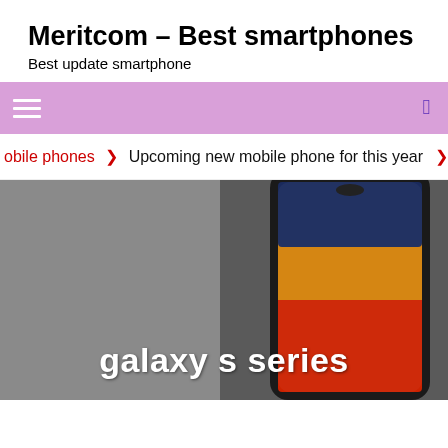Meritcom – Best smartphones
Best update smartphone
[Figure (screenshot): Pink/purple navigation bar with hamburger menu icon (three white lines) on left and search icon on right]
obile phones  ❯  Upcoming new mobile phone for this year  ❯
[Figure (photo): Samsung Galaxy S series smartphone displayed on grey background with colorful screen showing red, orange/yellow and dark blue sections. Text overlay reads 'galaxy s series' in white bold font.]